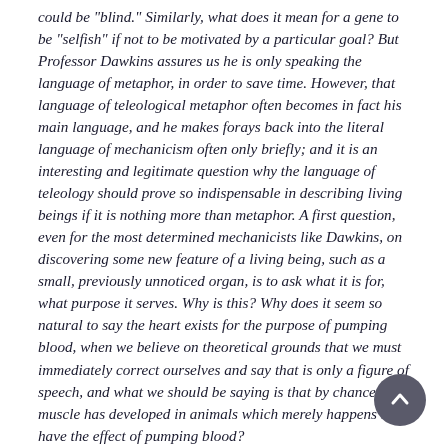could be "blind." Similarly, what does it mean for a gene to be "selfish" if not to be motivated by a particular goal? But Professor Dawkins assures us he is only speaking the language of metaphor, in order to save time. However, that language of teleological metaphor often becomes in fact his main language, and he makes forays back into the literal language of mechanicism often only briefly; and it is an interesting and legitimate question why the language of teleology should prove so indispensable in describing living beings if it is nothing more than metaphor. A first question, even for the most determined mechanicists like Dawkins, on discovering some new feature of a living being, such as a small, previously unnoticed organ, is to ask what it is for, what purpose it serves. Why is this? Why does it seem so natural to say the heart exists for the purpose of pumping blood, when we believe on theoretical grounds that we must immediately correct ourselves and say that is only a figure of speech, and what we should be saying is that by chance a muscle has developed in animals which merely happens to have the effect of pumping blood?